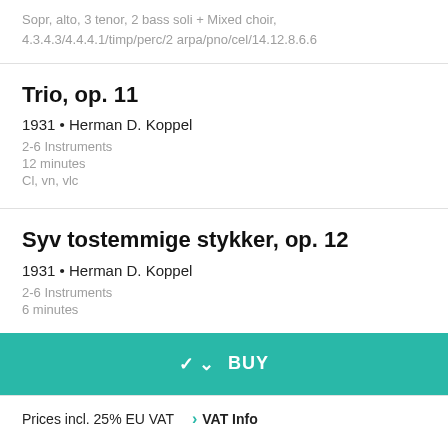Sopr, alto, 3 tenor, 2 bass soli + Mixed choir,
4.3.4.3/4.4.4.1/timp/perc/2 arpa/pno/cel/14.12.8.6.6
Trio, op. 11
1931 • Herman D. Koppel
2-6 Instruments
12 minutes
Cl, vn, vlc
Syv tostemmige stykker, op. 12
1931 • Herman D. Koppel
2-6 Instruments
6 minutes
BUY
Prices incl. 25% EU VAT
> VAT Info